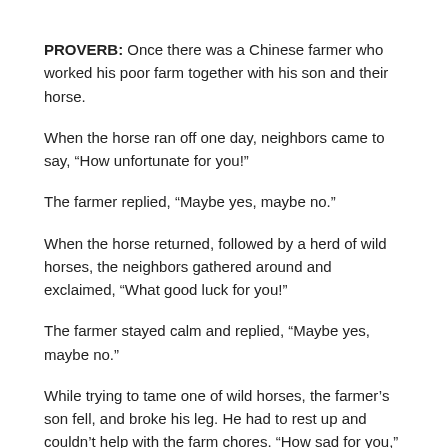PROVERB: Once there was a Chinese farmer who worked his poor farm together with his son and their horse.
When the horse ran off one day, neighbors came to say, “How unfortunate for you!”
The farmer replied, “Maybe yes, maybe no.”
When the horse returned, followed by a herd of wild horses, the neighbors gathered around and exclaimed, “What good luck for you!”
The farmer stayed calm and replied, “Maybe yes, maybe no.”
While trying to tame one of wild horses, the farmer’s son fell, and broke his leg. He had to rest up and couldn’t help with the farm chores. “How sad for you,” the neighbors cried.
“Maybe yes, maybe no,” said the farmer.